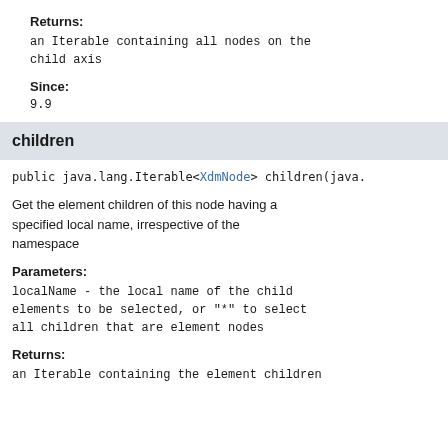Returns:
an Iterable containing all nodes on the child axis
Since:
9.9
children
public java.lang.Iterable<XdmNode> children(java.
Get the element children of this node having a specified local name, irrespective of the namespace
Parameters:
localName - the local name of the child elements to be selected, or "*" to select all children that are element nodes
Returns:
an Iterable containing the element children